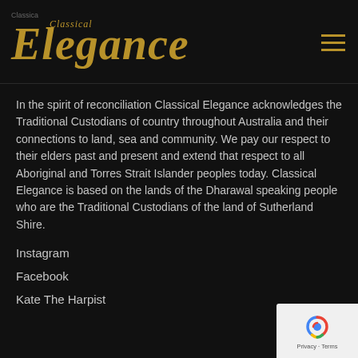Classical Elegance
In the spirit of reconciliation Classical Elegance acknowledges the Traditional Custodians of country throughout Australia and their connections to land, sea and community. We pay our respect to their elders past and present and extend that respect to all Aboriginal and Torres Strait Islander peoples today. Classical Elegance is based on the lands of the Dharawal speaking people who are the Traditional Custodians of the land of Sutherland Shire.
Instagram
Facebook
Kate The Harpist